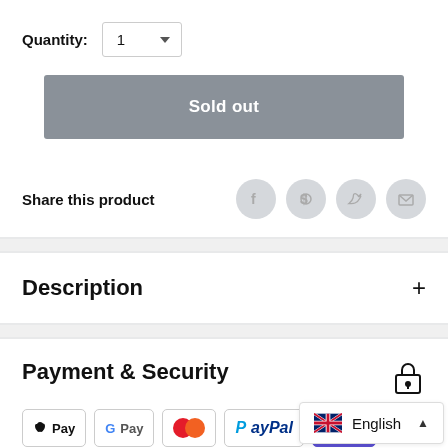Quantity: 1
[Figure (other): Sold out button - grey rectangular button with white bold text 'Sold out']
Share this product
[Figure (other): Social share icons: Facebook, Pinterest, Twitter, Email - all light grey circular icons]
Description
Payment & Security
[Figure (other): Payment method badges: Apple Pay, Google Pay, Mastercard, PayPal, OpenPay, VISA]
English language selector widget with UK flag